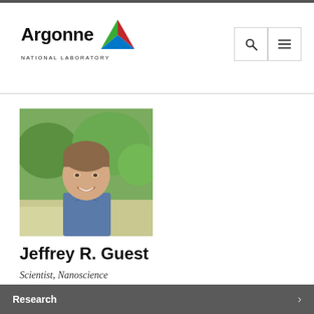[Figure (logo): Argonne National Laboratory logo with triangle icon in red, green, and blue]
[Figure (photo): Professional headshot of Jeffrey R. Guest, a man with short brown hair wearing a blue collared shirt, smiling outdoors with green foliage in background]
Jeffrey R. Guest
Scientist, Nanoscience
Research